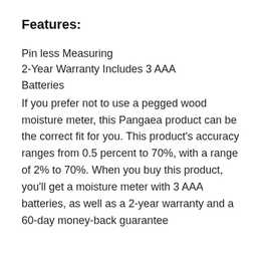Features:
Pin less Measuring
2-Year Warranty Includes 3 AAA Batteries
If you prefer not to use a pegged wood moisture meter, this Pangaea product can be the correct fit for you. This product’s accuracy ranges from 0.5 percent to 70%, with a range of 2% to 70%. When you buy this product, you’ll get a moisture meter with 3 AAA batteries, as well as a 2-year warranty and a 60-day money-back guarantee